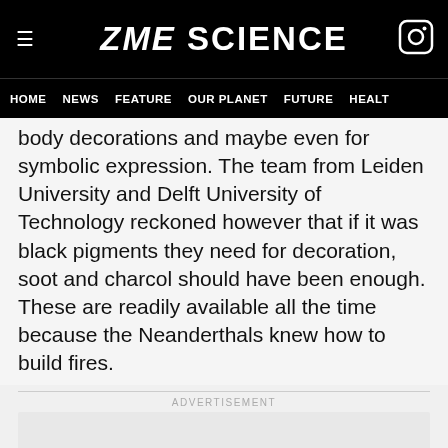ZME SCIENCE
HOME  NEWS  FEATURE  OUR PLANET  FUTURE  HEALT
body decorations and maybe even for symbolic expression. The team from Leiden University and Delft University of Technology reckoned however that if it was black pigments they need for decoration, soot and charcol should have been enough. These are readily available all the time because the Neanderthals knew how to build fires.
ADVERTISEMENT